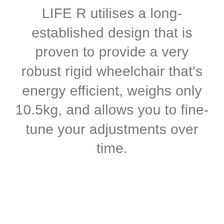LIFE R utilises a long-established design that is proven to provide a very robust rigid wheelchair that's energy efficient, weighs only 10.5kg, and allows you to fine-tune your adjustments over time.